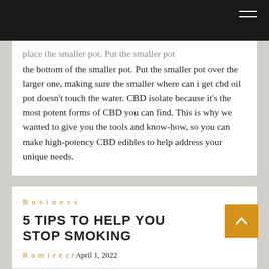[Navigation bar with hamburger menu]
place the smaller pot. Put the smaller pot over the larger one, making sure the smaller where can i get cbd oil pot doesn't touch the water. CBD isolate because it's the most potent forms of CBD you can find. This is why we wanted to give you the tools and know-how, so you can make high-potency CBD edibles to help address your unique needs.
Business
5 TIPS TO HELP YOU STOP SMOKING
Ramirez / April 1, 2022